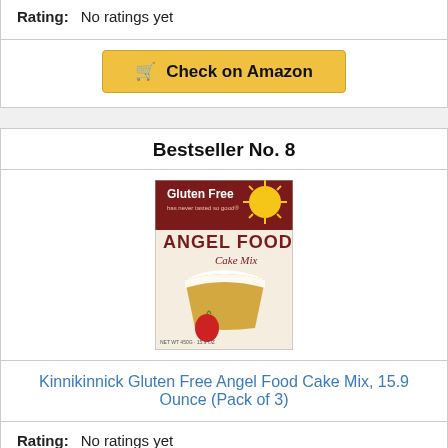Rating: No ratings yet
Check on Amazon
Bestseller No. 8
[Figure (photo): Product box image: Kinnikinnick Gluten Free Angel Food Cake Mix, showing a slice of angel food cake with strawberry, NET WT 450G / 15.9 OZ]
Kinnikinnick Gluten Free Angel Food Cake Mix, 15.9 Ounce (Pack of 3)
Rating: No ratings yet